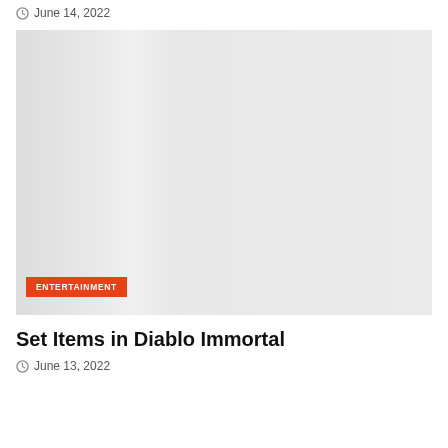June 14, 2022
[Figure (photo): A light gray placeholder image with subtle gradient shading suggesting a folded or curved surface, with an orange ENTERTAINMENT badge label in the lower-left corner]
Set Items in Diablo Immortal
June 13, 2022